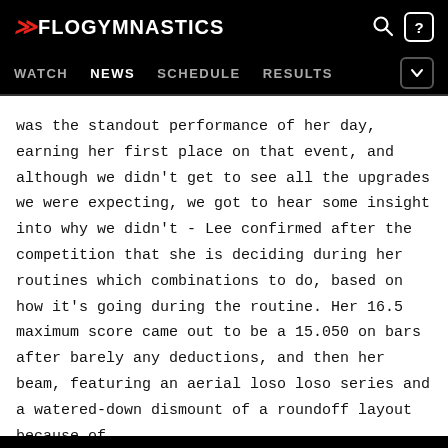FLOGYMNASTICS
WATCH  NEWS  SCHEDULE  RESULTS
was the standout performance of her day, earning her first place on that event, and although we didn't get to see all the upgrades we were expecting, we got to hear some insight into why we didn't - Lee confirmed after the competition that she is deciding during her routines which combinations to do, based on how it's going during the routine. Her 16.5 maximum score came out to be a 15.050 on bars after barely any deductions, and then her beam, featuring an aerial loso loso series and a watered-down dismount of a roundoff layout because of